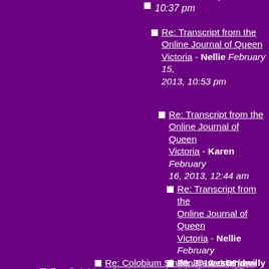Karen February 15, 2013, 10:37 pm
Re: Transcript from the Online Journal of Queen Victoria - Nellie February 15, 2013, 10:53 pm
Re: Transcript from the Online Journal of Queen Victoria - Karen February 16, 2013, 12:44 am
Re: Transcript from the Online Journal of Queen Victoria - Nellie February 16, 2013, 1:03 am
Re: Transcript from the Online Journal of Queen Victoria - Karen February 17, 2013, 2:21 am
Re: Colobium Sindonis - westendwilly February 15, 2013, 9:28 pm
Re: Colobium Sindonis - miechin January 27, 2013, 11:31 am
Re: Colobium Sindonis - Nellie January 28, 2013, 1:04 am